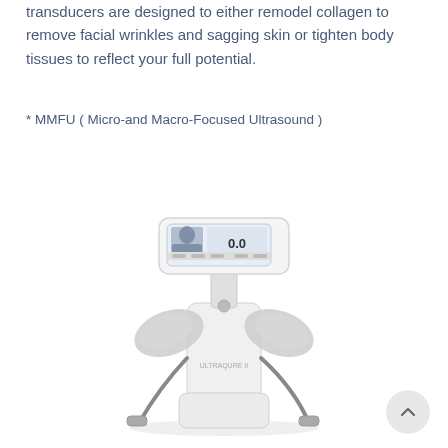transducers are designed to either remodel collagen to remove facial wrinkles and sagging skin or tighten body tissues to reflect your full potential.
* MMFU ( Micro-and Macro-Focused Ultrasound )
[Figure (photo): Medical ultrasound device (MMFU machine) with a white and grey body, a tilted monitor on top showing a face image and reading 0.0 STANDBY, and two handheld transducer probes hanging from the sides of the unit.]